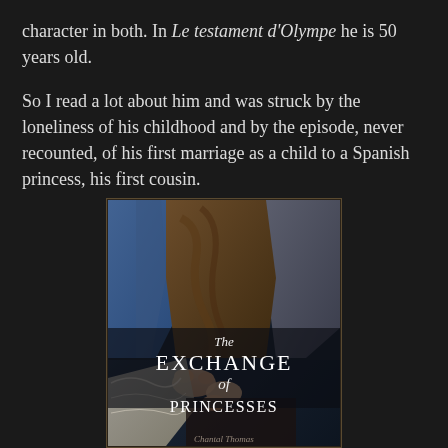character in both. In Le testament d'Olympe he is 50 years old.
So I read a lot about him and was struck by the loneliness of his childhood and by the episode, never recounted, of his first marriage as a child to a Spanish princess, his first cousin.
[Figure (photo): Book cover of 'The Exchange of Princesses' showing a classical painting detail of two figures in elaborate period dress holding hands, with the title text overlaid in white serif font.]